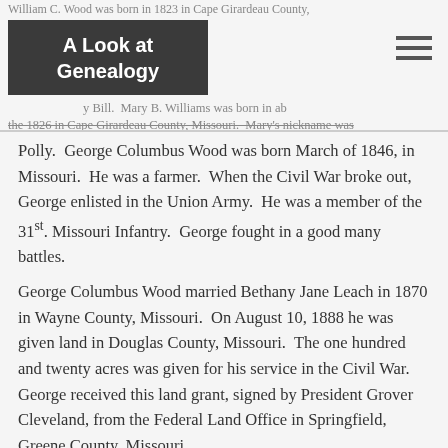William C. Wood was born in 1823 in Cape Girardeau County. A Look at Genealogy. Mary B. Williams was born in about 1826 in Cape Girardeau County, Missouri. Mary's nickname was
Polly. George Columbus Wood was born March of 1846, in Missouri. He was a farmer. When the Civil War broke out, George enlisted in the Union Army. He was a member of the 31st. Missouri Infantry. George fought in a good many battles.
George Columbus Wood married Bethany Jane Leach in 1870 in Wayne County, Missouri. On August 10, 1888 he was given land in Douglas County, Missouri. The one hundred and twenty acres was given for his service in the Civil War. George received this land grant, signed by President Grover Cleveland, from the Federal Land Office in Springfield, Greene County, Missouri.
Between 1900 and 1902 George's wife, Bethany Jane and his two daughters, Pruda Florence and Cora May died of tuberculosis.